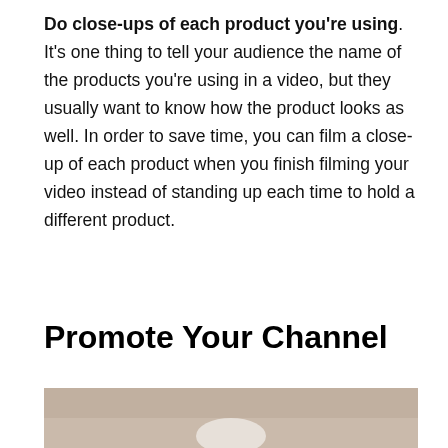Do close-ups of each product you're using. It's one thing to tell your audience the name of the products you're using in a video, but they usually want to know how the product looks as well. In order to save time, you can film a close-up of each product when you finish filming your video instead of standing up each time to hold a different product.
Promote Your Channel
[Figure (photo): Partially visible photo showing a light-colored surface or object, cropped at the bottom of the page.]